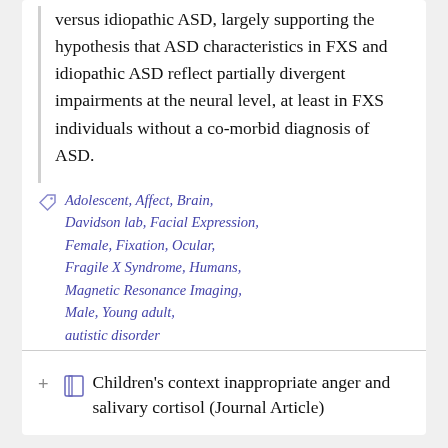versus idiopathic ASD, largely supporting the hypothesis that ASD characteristics in FXS and idiopathic ASD reflect partially divergent impairments at the neural level, at least in FXS individuals without a co-morbid diagnosis of ASD.
Adolescent, Affect, Brain, Davidson lab, Facial Expression, Female, Fixation, Ocular, Fragile X Syndrome, Humans, Magnetic Resonance Imaging, Male, Young adult, autistic disorder
Contexts of Contemplation Project
Children's context inappropriate anger and salivary cortisol (Journal Article)